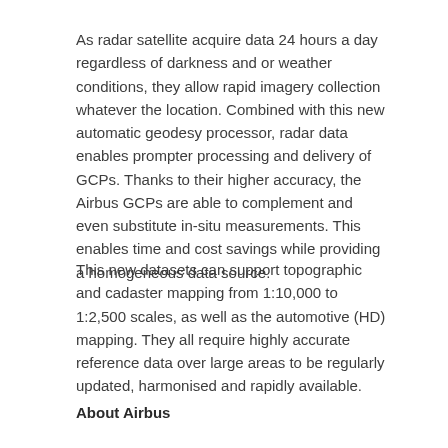As radar satellite acquire data 24 hours a day regardless of darkness and or weather conditions, they allow rapid imagery collection whatever the location. Combined with this new automatic geodesy processor, radar data enables prompter processing and delivery of GCPs. Thanks to their higher accuracy, the Airbus GCPs are able to complement and even substitute in-situ measurements. This enables time and cost savings while providing a homogeneous data source.
This new datasets can support topographic and cadaster mapping from 1:10,000 to 1:2,500 scales, as well as the automotive (HD) mapping. They all require highly accurate reference data over large areas to be regularly updated, harmonised and rapidly available.
About Airbus